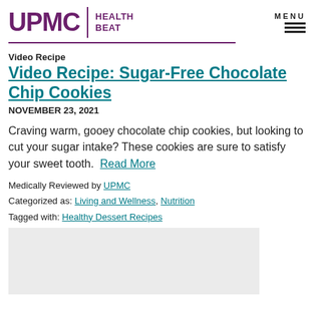UPMC HEALTH BEAT | MENU
Video Recipe
Video Recipe: Sugar-Free Chocolate Chip Cookies
NOVEMBER 23, 2021
Craving warm, gooey chocolate chip cookies, but looking to cut your sugar intake? These cookies are sure to satisfy your sweet tooth.  Read More
Medically Reviewed by UPMC
Categorized as: Living and Wellness, Nutrition
Tagged with: Healthy Dessert Recipes
[Figure (photo): Light gray image placeholder area at bottom of page]